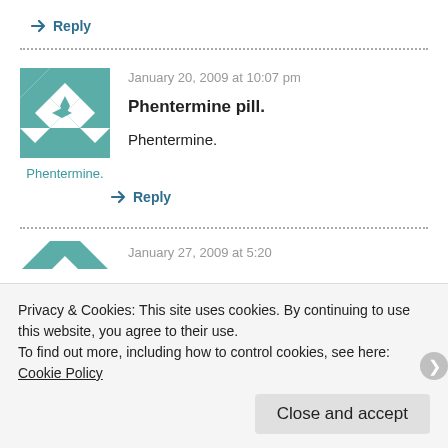↳ Reply
January 20, 2009 at 10:07 pm
Phentermine pill.
Phentermine.
↳ Reply
Privacy & Cookies: This site uses cookies. By continuing to use this website, you agree to their use. To find out more, including how to control cookies, see here: Cookie Policy
Close and accept